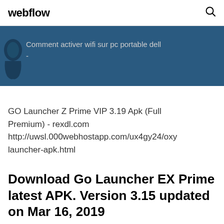webflow
[Figure (screenshot): Blue banner with a dark silhouette icon on the left and text 'Comment activer wifi sur pc portable dell' with a dash below on a dark blue background]
GO Launcher Z Prime VIP 3.19 Apk (Full Premium) - rexdl.com http://uwsl.000webhostapp.com/ux4gy24/oxy launcher-apk.html
Download Go Launcher EX Prime latest APK. Version 3.15 updated on Mar 16, 2019